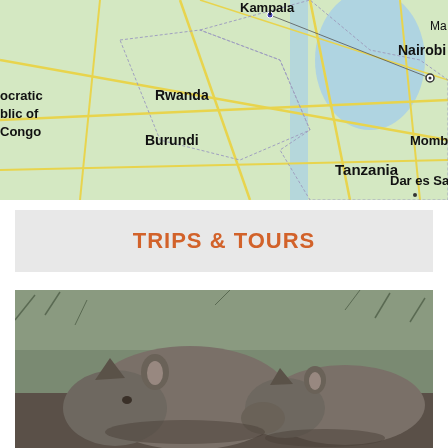[Figure (map): Partial Google Map showing East Africa region including Uganda (Kampala), Rwanda, Burundi, Tanzania, Kenya (Nairobi), Mombasa, Dar es Salaam, and Democratic Republic of Congo labels on a green/teal political map with yellow roads and blue water bodies.]
TRIPS & TOURS
[Figure (photo): Two rhinoceroses lying in mud with grass in the background, photographed in black and white / desaturated tones.]